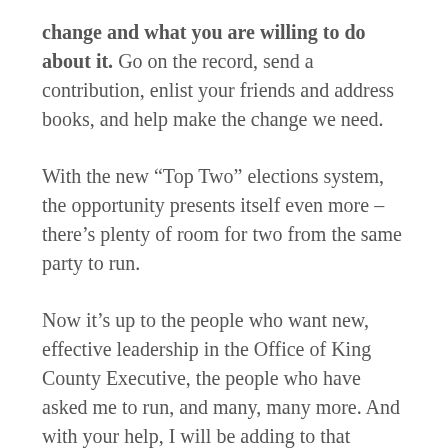change and what you are willing to do about it. Go on the record, send a contribution, enlist your friends and address books, and help make the change we need.
With the new "Top Two" elections system, the opportunity presents itself even more – there's plenty of room for two from the same party to run.
Now it's up to the people who want new, effective leadership in the Office of King County Executive, the people who have asked me to run, and many, many more. And with your help, I will be adding to that already growing list everywhere I go.